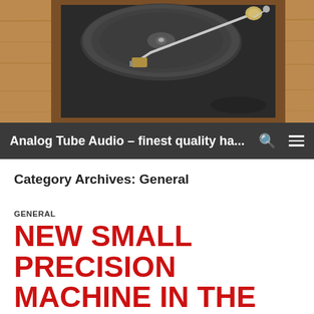[Figure (photo): Photograph of an analog turntable with tonearm on a wooden base, viewed from above]
Analog Tube Audio – finest quality ha...
Category Archives: General
GENERAL
NEW SMALL PRECISION MACHINE IN THE WORKSHOP
22. NOVEMBER 2014  ROBERT GRAETKE